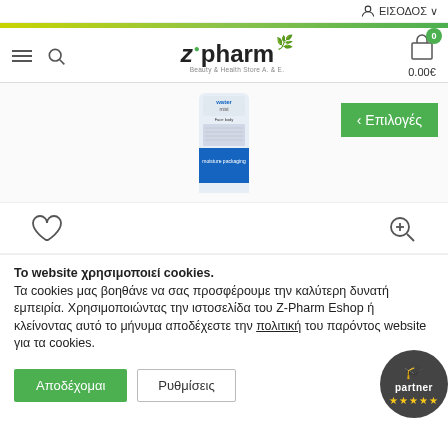ΕΙΣΟΔΟΣ
[Figure (logo): Z-Pharm Beauty & Health Store logo with green leaf and dot]
[Figure (photo): Water mist face spray product bottle with blue and white label]
< Επιλογές
[Figure (illustration): Heart/wishlist icon and zoom/magnify icon]
Το website χρησιμοποιεί cookies.
Τα cookies μας βοηθάνε να σας προσφέρουμε την καλύτερη δυνατή εμπειρία. Χρησιμοποιώντας την ιστοσελίδα του Z-Pharm Eshop ή κλείνοντας αυτό το μήνυμα αποδέχεστε την πολιτική του παρόντος website για τα cookies.
Αποδέχομαι  Ρυθμίσεις